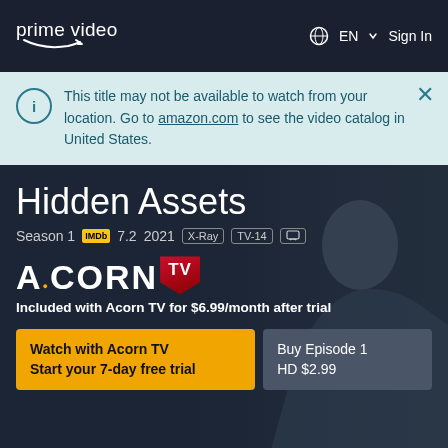prime video   EN   Sign In
This title may not be available to watch from your location. Go to amazon.com to see the video catalog in United States.
Hidden Assets
Season 1   IMDb 7.2   2021   X-Ray   TV-14
[Figure (logo): Acorn TV logo — ACORN in large white bold letters with TV in a red pennant/shield badge]
Included with Acorn TV for $6.99/month after trial
Watch with Acorn TV Start your 7-day free trial
Buy Episode 1 HD $2.99